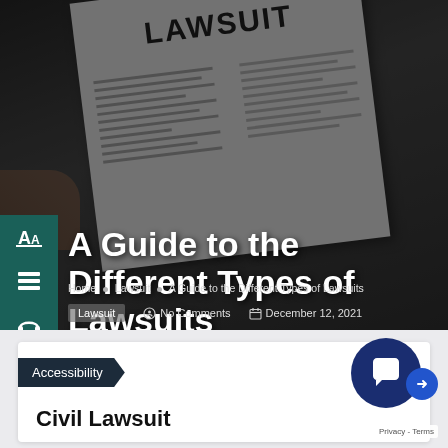[Figure (photo): Hero background showing a person holding a lawsuit document, with dark overlay. The document shows 'LAWSUIT' in bold heading text with lines of text below.]
A Guide to the Different Types of Lawsuits
Home • Lawsuit • A Guide to the Different Types of Lawsuits
Lawsuit   No Comments   December 12, 2021
Accessibility
Civil Lawsuit